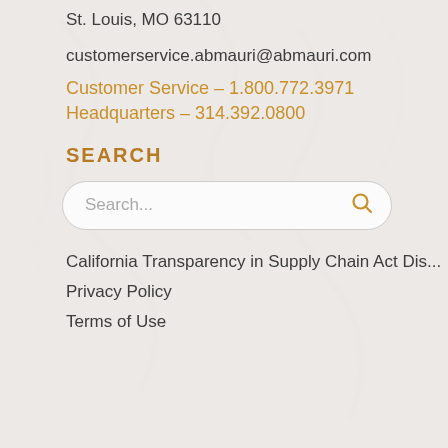St. Louis, MO 63110
customerservice.abmauri@abmauri.com
Customer Service – 1.800.772.3971
Headquarters – 314.392.0800
SEARCH
Search...
California Transparency in Supply Chain Act Dis...
Privacy Policy
Terms of Use